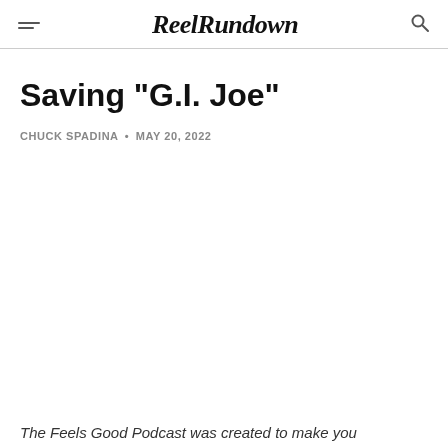ReelRundown
Saving "G.I. Joe"
CHUCK SPADINA • MAY 20, 2022
The Feels Good Podcast was created to make you